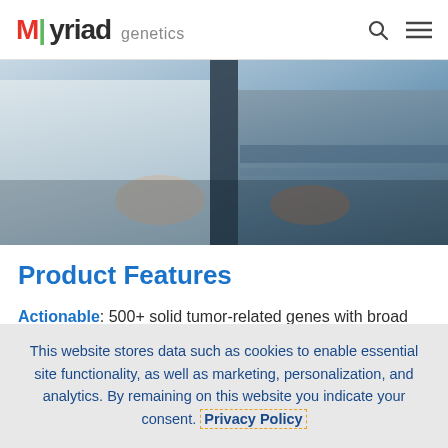Myriad genetics
[Figure (photo): Close-up photo of two people, one in a white lab coat and one in casual clothing, with hands visible, suggesting a clinical consultation or patient interaction]
Product Features
Actionable: 500+ solid tumor-related genes with broad coverage of key guidelines and clinical trials for multiple solid tumor types
This website stores data such as cookies to enable essential site functionality, as well as marketing, personalization, and analytics. By remaining on this website you indicate your consent. Privacy Policy